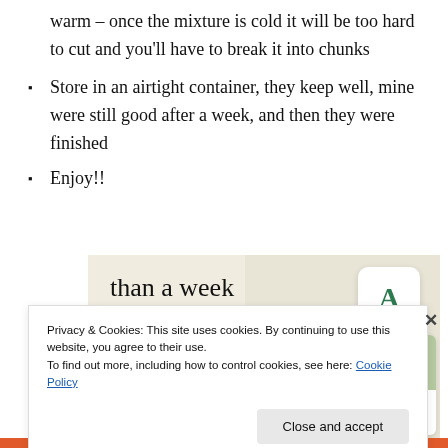warm – once the mixture is cold it will be too hard to cut and you'll have to break it into chunks
Store in an airtight container, they keep well, mine were still good after a week, and then they were finished
Enjoy!!
[Figure (screenshot): Advertisement screenshot showing 'than a week' heading with an Explore options button on a cream background, alongside app UI mockups with food images]
Privacy & Cookies: This site uses cookies. By continuing to use this website, you agree to their use.
To find out more, including how to control cookies, see here: Cookie Policy
Close and accept